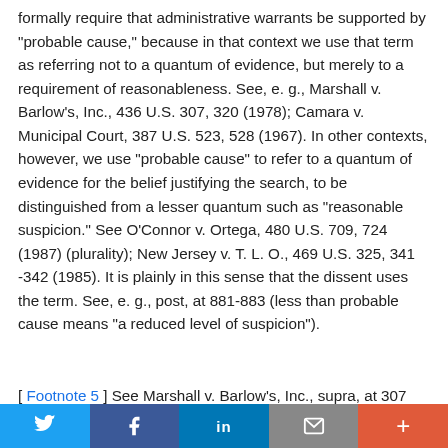formally require that administrative warrants be supported by "probable cause," because in that context we use that term as referring not to a quantum of evidence, but merely to a requirement of reasonableness. See, e. g., Marshall v. Barlow's, Inc., 436 U.S. 307, 320 (1978); Camara v. Municipal Court, 387 U.S. 523, 528 (1967). In other contexts, however, we use "probable cause" to refer to a quantum of evidence for the belief justifying the search, to be distinguished from a lesser quantum such as "reasonable suspicion." See O'Connor v. Ortega, 480 U.S. 709, 724 (1987) (plurality); New Jersey v. T. L. O., 469 U.S. 325, 341 -342 (1985). It is plainly in this sense that the dissent uses the term. See, e. g., post, at 881-883 (less than probable cause means "a reduced level of suspicion").
[ Footnote 5 ] See Marshall v. Barlow's, Inc., supra, at 307